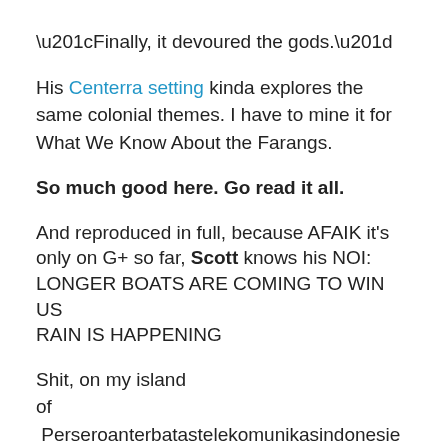“Finally, it devoured the gods.”
His Centerra setting kinda explores the same colonial themes. I have to mine it for What We Know About the Farangs.
So much good here. Go read it all.
And reproduced in full, because AFAIK it’s only on G+ so far, Scott knows his NOI:
LONGER BOATS ARE COMING TO WIN US
RAIN IS HAPPENING
Shit, on my island
of  Perseroanterbatastelekomunikasindonesie Terbuka the language we talk is Bahasa Riau Malay and if I wasn’t making a effort to tone it down it would strike you eight